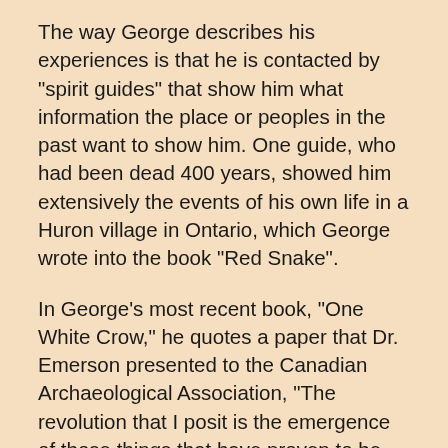The way George describes his experiences is that he is contacted by "spirit guides" that show him what information the place or peoples in the past want to show him. One guide, who had been dead 400 years, showed him extensively the events of his own life in a Huron village in Ontario, which George wrote into the book "Red Snake".
In George's most recent book, "One White Crow," he quotes a paper that Dr. Emerson presented to the Canadian Archaeological Association, "The revolution that I posit is the emergence of those things that have proven to be good in these two great historical traditions... the wedding or welding of intuition and science. Such a revolution is being spurred by the recognition of such men as George, who demonstrates that his "powers" are neither